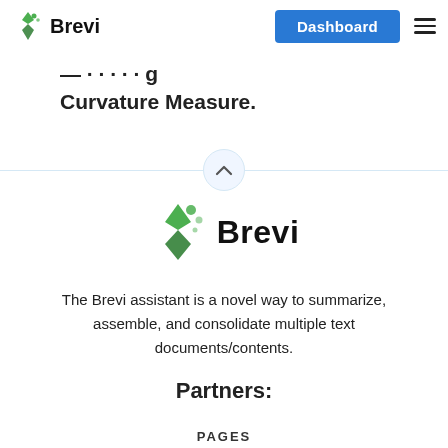Brevi | Dashboard
Curvature Measure.
[Figure (other): Horizontal divider line with a circular chevron/caret-up button in the center]
[Figure (logo): Brevi logo — diamond-shaped icon in green with 'Brevi' text in bold]
The Brevi assistant is a novel way to summarize, assemble, and consolidate multiple text documents/contents.
Partners:
PAGES